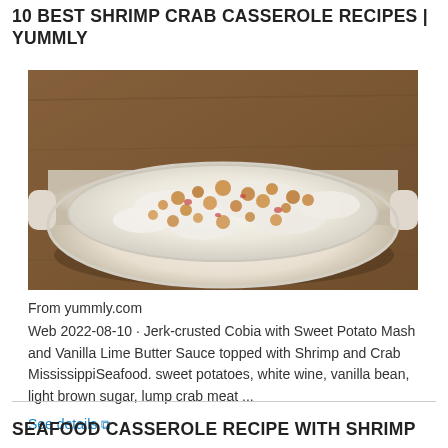10 BEST SHRIMP CRAB CASSEROLE RECIPES | YUMMLY
[Figure (photo): A white oval casserole dish filled with a creamy shrimp and crab casserole topped with browned breadcrumbs, set on a wooden surface.]
From yummly.com
Web 2022-08-10 · Jerk-crusted Cobia with Sweet Potato Mash and Vanilla Lime Butter Sauce topped with Shrimp and Crab MississippiSeafood. sweet potatoes, white wine, vanilla bean, light brown sugar, lump crab meat ...
See details
SEAFOOD CASSEROLE RECIPE WITH SHRIMP